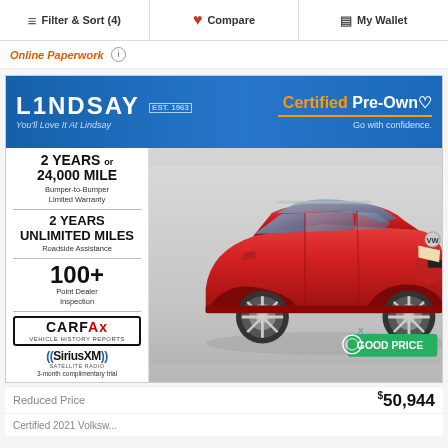Filter & Sort (4)   Compare   My Wallet
Online Paperwork ℹ
[Figure (infographic): Lindsay dealership advertisement showing Certified Pre-Owned banner, warranty terms (2 Years or 24,000 Mile Bumper-to-Bumper Limited Warranty, 2 Years Unlimited Miles Roadside Assistance, 100+ Point Dealer Inspection), CARFAX Vehicle History Reports logo, SiriusXM Satellite Radio logo, and a red Volkswagen ID.4 SUV photo]
Reduced Price
GOOD PRICE  $50,944
Certified 2021 Volksw...